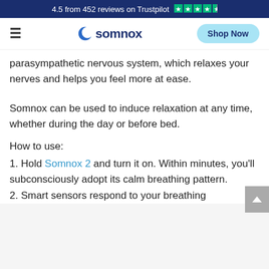4.5 from 452 reviews on Trustpilot ★★★★½
[Figure (screenshot): Somnox website navigation bar with hamburger menu, somnox logo (crescent moon), and Shop Now button]
parasympathetic nervous system, which relaxes your nerves and helps you feel more at ease.
Somnox can be used to induce relaxation at any time, whether during the day or before bed.
How to use:
1. Hold Somnox 2 and turn it on. Within minutes, you'll subconsciously adopt its calm breathing pattern.
2. Smart sensors respond to your breathing